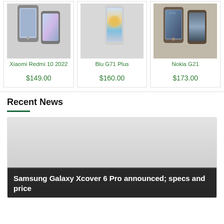[Figure (photo): Xiaomi Redmi 10 2022 smartphone product image]
Xiaomi Redmi 10 2022
$149.00
[Figure (photo): Blu G71 Plus smartphone product image]
Blu G71 Plus
$160.00
[Figure (photo): Nokia G21 smartphone product image]
Nokia G21
$173.00
Recent News
[Figure (photo): News article featured image for Samsung Galaxy Xcover 6 Pro announcement]
Samsung Galaxy Xcover 6 Pro announced; specs and price